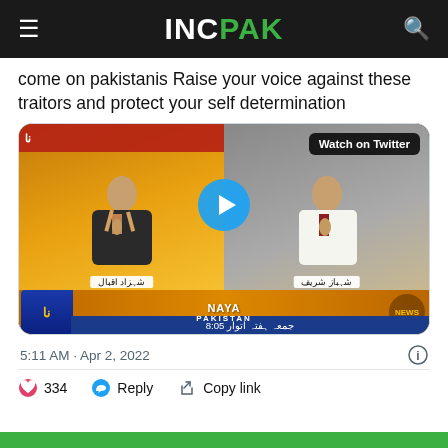INCPAK
come on pakistanis Raise your voice against these traitors and protect your self determination
[Figure (screenshot): Embedded Twitter/X video showing a Pakistani TV news show with two anchors: شہزاد اقبال (left) and شہباز شریف (right), with NAYA PAKISTAN logo and time 8:05, date جمعہ ہفتہ اتوار, with a blue play button and 'Watch on Twitter' label.]
5:11 AM · Apr 2, 2022
334   Reply   Copy link